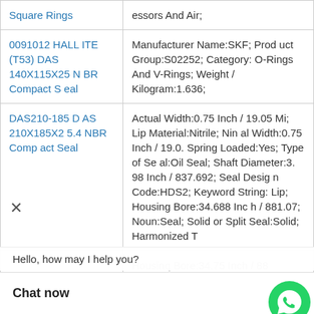| Product | Details |
| --- | --- |
| Square Rings | essors And Air; |
| 0091012 HALLITE (T53) DAS 140X115X25 NBR Compact Seal | Manufacturer Name:SKF; Product Group:S02252; Category:O-Rings And V-Rings; Weight / Kilogram:1.636; |
| DAS210-185 DAS 210X185X25.4 NBR Compact Seal | Actual Width:0.75 Inch / 19.05 Mi; Lip Material:Nitrile; Nominal Width:0.75 Inch / 19.0_; Spring Loaded:Yes; Type of Seal:Oil Seal; Shaft Diameter:32.98 Inch / 837.692; Seal Design Code:HDS2; Keyword String:Lip; Housing Bore:34.688 Inch / 881.07; Noun:Seal; Solid or Split Seal:Solid; Harmonized T |
|  | Housing Bore:34.75 Inch / 88 Metric:Inch; Weig 965; Noun:Seal; N 1 4 of 35.4 Mi |
Hello, how may I help you?
Chat now